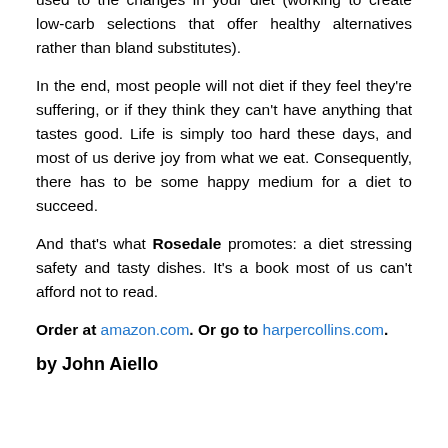used to the changes in your diet (working to create low-carb selections that offer healthy alternatives rather than bland substitutes).
In the end, most people will not diet if they feel they’re suffering, or if they think they can’t have anything that tastes good. Life is simply too hard these days, and most of us derive joy from what we eat. Consequently, there has to be some happy medium for a diet to succeed.
And that’s what Rosedale promotes: a diet stressing safety and tasty dishes. It’s a book most of us can’t afford not to read.
Order at amazon.com. Or go to harpercollins.com.
by John Aiello